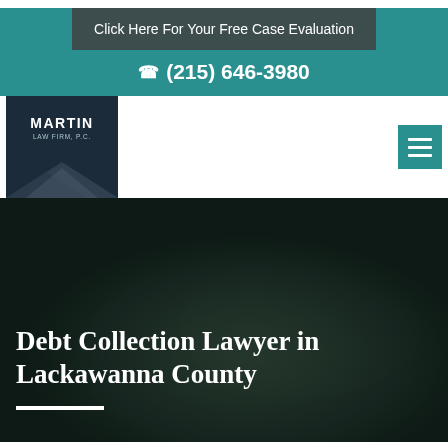Click Here For Your Free Case Evaluation
(215) 646-3980
[Figure (logo): Martin Law Firm, P.C. logo with dark navy background and gray chevron shape]
[Figure (other): Hamburger menu icon (three horizontal white lines on teal background)]
[Figure (photo): Dark overlay photo of hands exchanging money/cash, used as hero banner background]
Debt Collection Lawyer in Lackawanna County